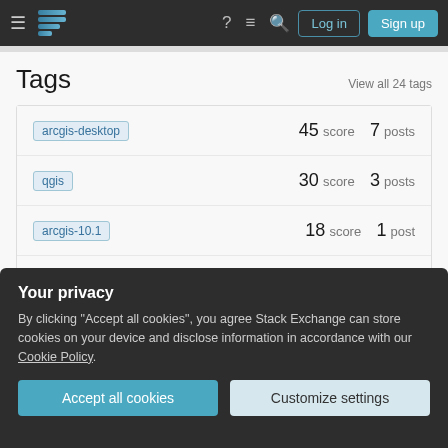Stack Exchange navigation bar with Log in and Sign up buttons
Tags
View all 24 tags
| Tag | Score | Posts |
| --- | --- | --- |
| arcgis-desktop | 45 score | 7 posts |
| qgis | 30 score | 3 posts |
| arcgis-10.1 | 18 score | 1 post |
Your privacy
By clicking "Accept all cookies", you agree Stack Exchange can store cookies on your device and disclose information in accordance with our Cookie Policy.
Accept all cookies
Customize settings